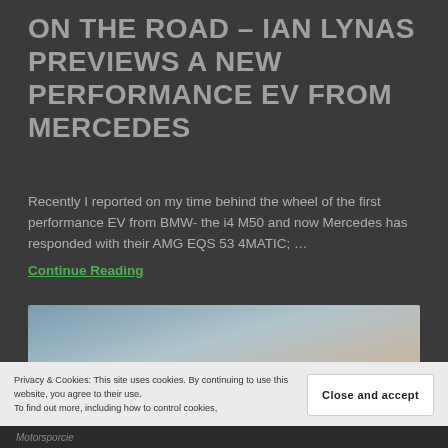ON THE ROAD – IAN LYNAS PREVIEWS A NEW PERFORMANCE EV FROM MERCEDES
Recently I reported on my time behind the wheel of the first performance EV from BMW- the i4 M50 and now Mercedes has responded with their AMG EQS 53 4MATIC; … Continue Reading
[Figure (photo): Partial photograph showing sky gradient, likely an outdoor automotive scene. A cookie consent banner overlays the lower portion of the page.]
Privacy & Cookies: This site uses cookies. By continuing to use this website, you agree to their use. To find out more, including how to control cookies,
Close and accept
Motorsporcie